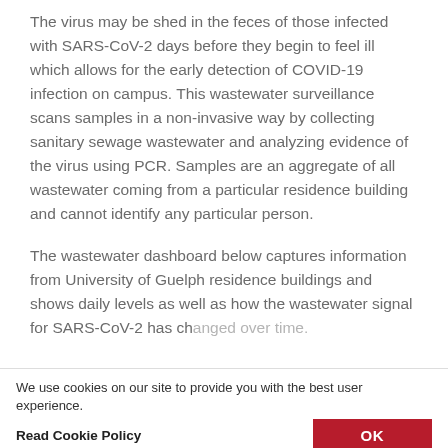The virus may be shed in the feces of those infected with SARS-CoV-2 days before they begin to feel ill which allows for the early detection of COVID-19 infection on campus. This wastewater surveillance scans samples in a non-invasive way by collecting sanitary sewage wastewater and analyzing evidence of the virus using PCR. Samples are an aggregate of all wastewater coming from a particular residence building and cannot identify any particular person.
The wastewater dashboard below captures information from University of Guelph residence buildings and shows daily levels as well as how the wastewater signal for SARS-CoV-2 has changed over time.
We use cookies on our site to provide you with the best user experience.
Read Cookie Policy    OK